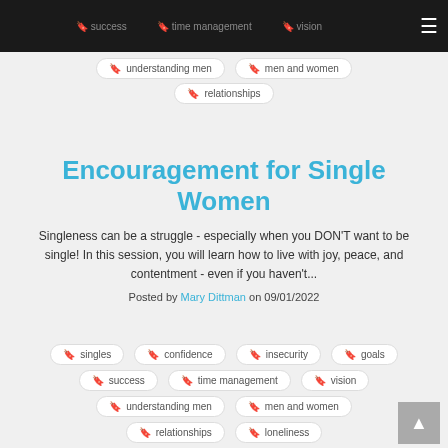success  time management  vision
understanding men
men and women
relationships
Encouragement for Single Women
Singleness can be a struggle - especially when you DON'T want to be single! In this session, you will learn how to live with joy, peace, and contentment - even if you haven't...
Posted by Mary Dittman on 09/01/2022
singles
confidence
insecurity
goals
success
time management
vision
understanding men
men and women
relationships
loneliness